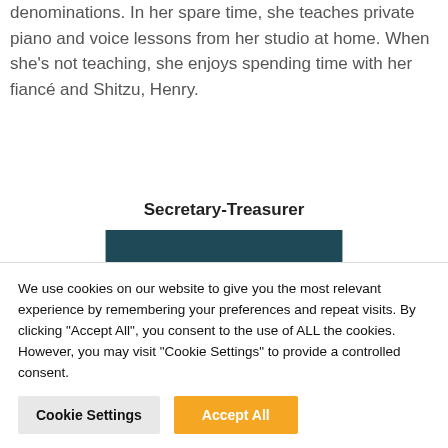denominations. In her spare time, she teaches private piano and voice lessons from her studio at home. When she's not teaching, she enjoys spending time with her fiancé and Shitzu, Henry.
Secretary-Treasurer
[Figure (photo): Portrait photo of a woman with blonde hair against a teal/dark blue background]
We use cookies on our website to give you the most relevant experience by remembering your preferences and repeat visits. By clicking "Accept All", you consent to the use of ALL the cookies. However, you may visit "Cookie Settings" to provide a controlled consent.